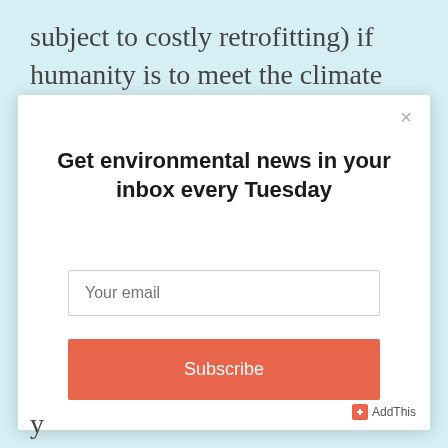subject to costly retrofitting) if humanity is to meet the climate goals set out in the Paris Agreement,"
[Figure (screenshot): Modal popup dialog with email subscription form. Contains title 'Get environmental news in your inbox every Tuesday', an email input field with placeholder 'Your email', and a salmon/orange 'Subscribe' button. Has a close (×) button in top right corner and an AddThis badge in bottom right.]
y